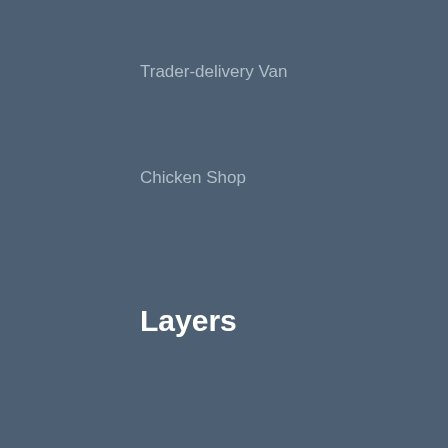Trader-delivery Van
Chicken Shop
Layers
Layer Farmer
Farmer Supervisor
Wholesaler
Wholesaler–Delivery vehicle
Retail Shop